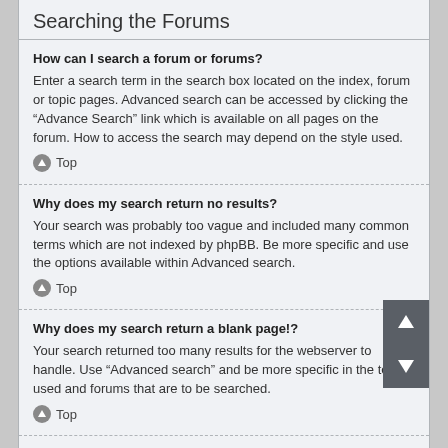Searching the Forums
How can I search a forum or forums?
Enter a search term in the search box located on the index, forum or topic pages. Advanced search can be accessed by clicking the “Advance Search” link which is available on all pages on the forum. How to access the search may depend on the style used.
Top
Why does my search return no results?
Your search was probably too vague and included many common terms which are not indexed by phpBB. Be more specific and use the options available within Advanced search.
Top
Why does my search return a blank page!?
Your search returned too many results for the webserver to handle. Use “Advanced search” and be more specific in the terms used and forums that are to be searched.
Top
How do I search for members?
Visit to the “Members” page and click the “Find a member” link.